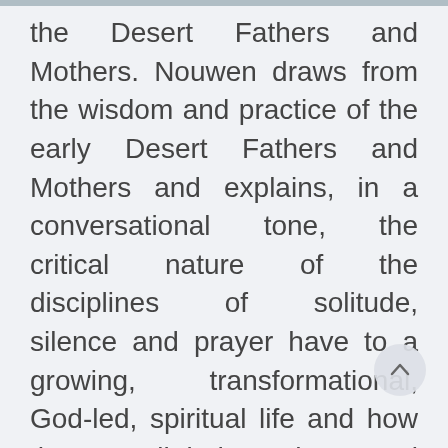the Desert Fathers and Mothers. Nouwen draws from the wisdom and practice of the early Desert Fathers and Mothers and explains, in a conversational tone, the critical nature of the disciplines of solitude, silence and prayer have to a growing, transformational, God-led, spiritual life and how they are all tied together. Henri Nouwen's language is incredibly easy to read and I almost felt like I was being